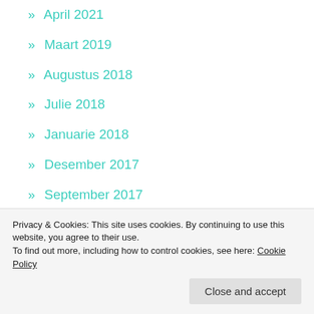» April 2021
» Maart 2019
» Augustus 2018
» Julie 2018
» Januarie 2018
» Desember 2017
» September 2017
» Augustus 2017
» April 2017
» Maart 2017
» Desember 2016
Privacy & Cookies: This site uses cookies. By continuing to use this website, you agree to their use.
To find out more, including how to control cookies, see here: Cookie Policy
» Desember 2015